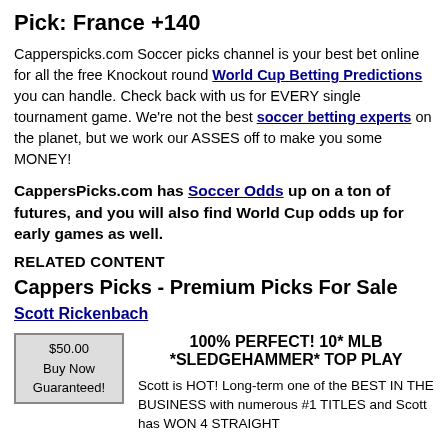Pick: France +140
Capperspicks.com Soccer picks channel is your best bet online for all the free Knockout round World Cup Betting Predictions you can handle. Check back with us for EVERY single tournament game. We’re not the best soccer betting experts on the planet, but we work our ASSES off to make you some MONEY!
CappersPicks.com has Soccer Odds up on a ton of futures, and you will also find World Cup odds up for early games as well.
RELATED CONTENT
Cappers Picks - Premium Picks For Sale
Scott Rickenbach
| $50.00
Buy Now
Guaranteed! | 100% PERFECT! 10* MLB *SLEDGEHAMMER* TOP PLAY

Scott is HOT! Long-term one of the BEST IN THE BUSINESS with numerous #1 TITLES and Scott has WON 4 STRAIGHT |
Scott is HOT! Long-term one of the BEST IN THE BUSINESS with numerous #1 TITLES and Scott has WON 4 STRAIGHT